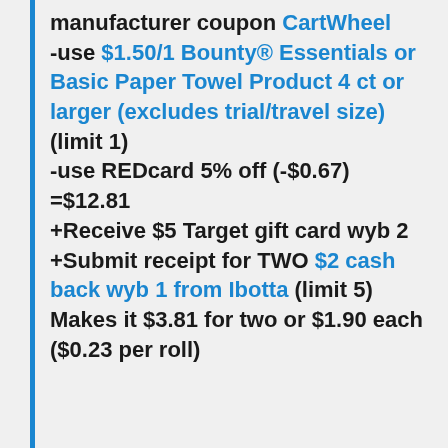manufacturer coupon CartWheel -use $1.50/1 Bounty® Essentials or Basic Paper Towel Product 4 ct or larger (excludes trial/travel size) (limit 1) -use REDcard 5% off (-$0.67) =$12.81 +Receive $5 Target gift card wyb 2 +Submit receipt for TWO $2 cash back wyb 1 from Ibotta (limit 5) Makes it $3.81 for two or $1.90 each ($0.23 per roll)